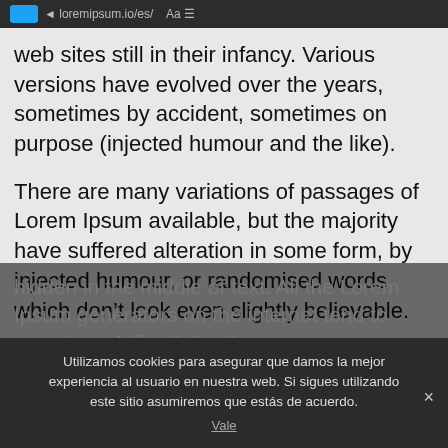web sites still in their infancy. Various versions have evolved over the years, sometimes by accident, sometimes on purpose (injected humour and the like).
There are many variations of passages of Lorem Ipsum available, but the majority have suffered alteration in some form, by injected humour, or randomised words which don’t look even slightly believable.
If you are going to use a passage of Lorem Ipsum, you
hidden in the middle of text. All the Lorem Ipsum generators on the internet tend to repeat predefined chunks as necessary, making this the first true
Utilizamos cookies para asegurar que damos la mejor experiencia al usuario en nuestra web. Si sigues utilizando este sitio asumiremos que estás de acuerdo.
Vale